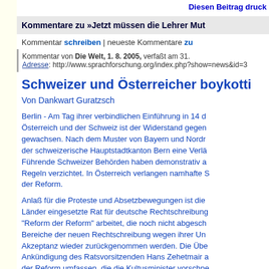Diesen Beitrag druck...
Kommentare zu »Jetzt müssen die Lehrer Mut...
Kommentar schreiben | neueste Kommentare zu...
Kommentar von Die Welt, 1. 8. 2005, verfaßt am 31. Adresse: http://www.sprachforschung.org/index.php?show=news&id=3...
Schweizer und Österreicher boykotti...
Von Dankwart Guratzsch
Berlin - Am Tag ihrer verbindlichen Einführung in 14 d... Österreich und der Schweiz ist der Widerstand gegen... gewachsen. Nach dem Muster von Bayern und Nordr... der schweizerische Hauptstadtkanton Bern eine Verläs... Führende Schweizer Behörden haben demonstrativ a... Regeln verzichtet. In Österreich verlangen namhafte S... der Reform.
Anlaß für die Proteste und Absetzbewegungen ist die... Länder eingesetzte Rat für deutsche Rechtschreibung... "Reform der Reform" arbeitet, die noch nicht abgesch... Bereiche der neuen Rechtschreibung wegen ihrer Un... Akzeptanz wieder zurückgenommen werden. Die Übe... Ankündigung des Ratsvorsitzenden Hans Zehetmair a... der Reform umfassen, die die Kultusminister vorschne... für verbindlich erklärt hatten. Die Schweizer Bundeska... Staatsschreibberkonferenz haben darauf beschloss...